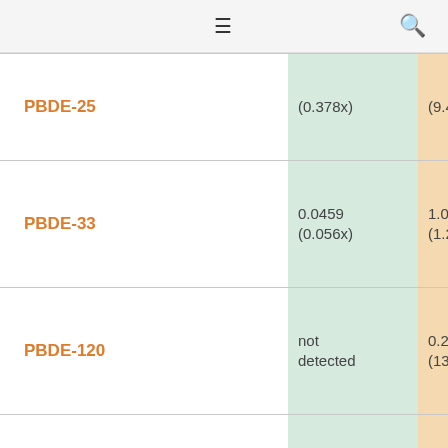☰  🔍
| Compound | Green col | Orange col |
| --- | --- | --- |
| PBDE-25 | (0.378x) | (9.43x) |
| PBDE-33 | 0.0459
(0.056x) | 1.03
(1.26x) |
| PBDE-120 | not detected | 0.287
(13.9x) |
| PBDE-28 | 0.0459
(0.119x) | 1.03
(2.68x) |
| PBDE-126 | not detected | 0.137
(310x) |